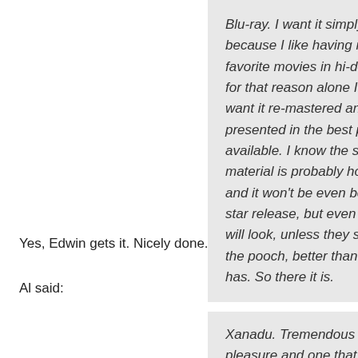Blu-ray. I want it simply because I like having my favorite movies in hi-def. So for that reason alone I would want it re-mastered and presented in the best picture available. I know the source material is probably horrible and it won't be even be a 3 star release, but even still it will look, unless they screw the pooch, better than it ever has. So there it is.
Yes, Edwin gets it. Nicely done.
Al said:
Xanadu. Tremendous guilty pleasure and one that needs to